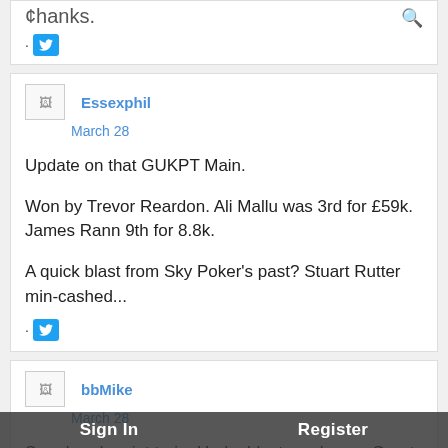thanks.
· [Twitter icon]
Essexphil
March 28
Update on that GUKPT Main.

Won by Trevor Reardon. Ali Mallu was 3rd for £59k. James Rann 9th for 8.8k.

A quick blast from Sky Poker's past? Stuart Rutter min-cashed...
· [Twitter icon]
bbMike
March 28
Sore head, quiet train. Had a blast as always. Great event, dealers were all fantastic apart from the guy who dealt the last river carr... Great to meet such...
Sign In   Register